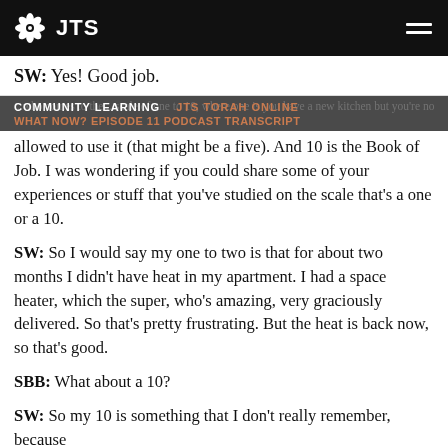JTS
SW: Yes! Good job.
COMMUNITY LEARNING   JTS TORAH ONLINE   WHAT NOW? EPISODE 11 PODCAST TRANSCRIPT
allowed to use it (that might be a five). And 10 is the Book of Job. I was wondering if you could share some of your experiences or stuff that you've studied on the scale that's a one or a 10.
SW: So I would say my one to two is that for about two months I didn't have heat in my apartment. I had a space heater, which the super, who's amazing, very graciously delivered. So that's pretty frustrating. But the heat is back now, so that's good.
SBB: What about a 10?
SW: So my 10 is something that I don't really remember, because